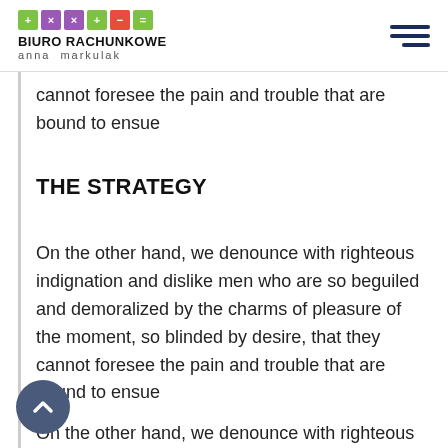BIURO RACHUNKOWE anna markulak
cannot foresee the pain and trouble that are bound to ensue
THE STRATEGY
On the other hand, we denounce with righteous indignation and dislike men who are so beguiled and demoralized by the charms of pleasure of the moment, so blinded by desire, that they cannot foresee the pain and trouble that are bound to ensue
On the other hand, we denounce with righteous indignation and dislike men who are so beguiled